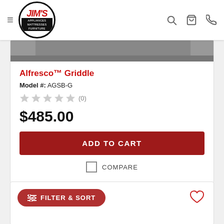[Figure (logo): Jim's Appliances Mattresses Furniture circular logo with hamburger menu and navigation icons]
[Figure (photo): Partial product image strip showing a griddle appliance]
Alfresco™ Griddle
Model #: AGSB-G
★★★★★ (0)
$485.00
ADD TO CART
COMPARE
FILTER & SORT